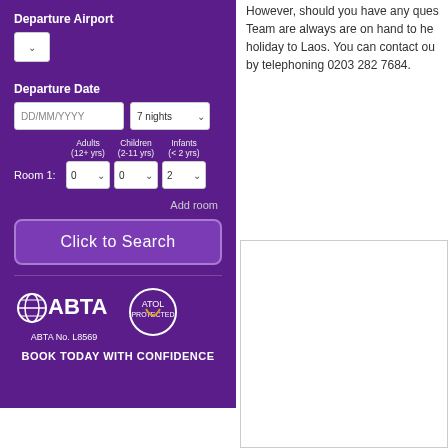Departure Airport
Departure Date
DD/MM/YYYY  7 nights
Adults (12+ yrs)  Children (2-11 yrs)  Infants (< 2 yrs)
Room 1: 0  0  2
Add room
Click to Search
ABTA No. L8569
BOOK TODAY WITH CONFIDENCE
However, should you have any ques Team are always are on hand to he holiday to Laos. You can contact ou by telephoning 0203 282 7684.